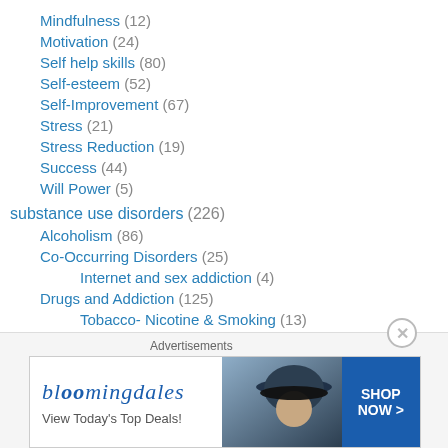Mindfulness (12)
Motivation (24)
Self help skills (80)
Self-esteem (52)
Self-Improvement (67)
Stress (21)
Stress Reduction (19)
Success (44)
Will Power (5)
substance use disorders (226)
Alcoholism (86)
Co-Occurring Disorders (25)
Internet and sex addiction (4)
Drugs and Addiction (125)
Tobacco- Nicotine & Smoking (13)
Videos (93)
[Figure (screenshot): Bloomingdales advertisement banner: 'View Today's Top Deals! SHOP NOW >']